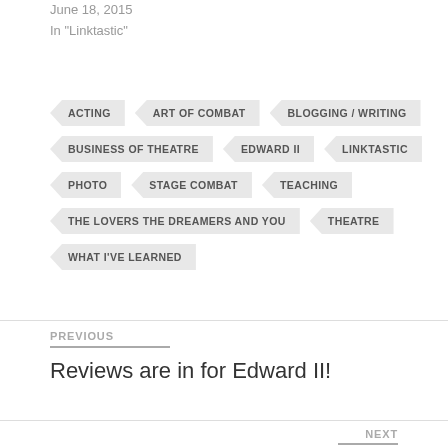June 18, 2015
In "Linktastic"
ACTING
ART OF COMBAT
BLOGGING / WRITING
BUSINESS OF THEATRE
EDWARD II
LINKTASTIC
PHOTO
STAGE COMBAT
TEACHING
THE LOVERS THE DREAMERS AND YOU
THEATRE
WHAT I'VE LEARNED
PREVIOUS
Reviews are in for Edward II!
NEXT